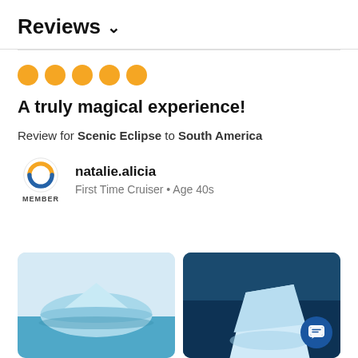Reviews ∨
[Figure (other): Five orange filled circle dots representing a 5-star rating]
A truly magical experience!
Review for Scenic Eclipse to South America
natalie.alicia
First Time Cruiser • Age 40s
[Figure (photo): Two photos side by side: left shows an iceberg under a light blue sky, right shows a close-up of an iceberg in dark blue water with a chat button overlay]